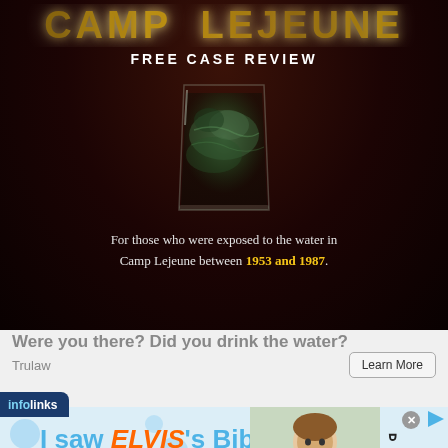[Figure (photo): Dark advertisement banner for Camp Lejeune legal case with glowing glass of water, yellow title text partially visible at top, 'FREE CASE REVIEW' subtitle, and body text about water exposure between 1953 and 1987]
Were you there? Did you drink the water?
Trulaw
[Figure (screenshot): Second advertisement banner: 'infolinks' label at top left, 'I saw ELVIS's Bible!' text in blue and orange with child photo, Museum of the Bible logo and tagline 'What's in it will surprise you.']